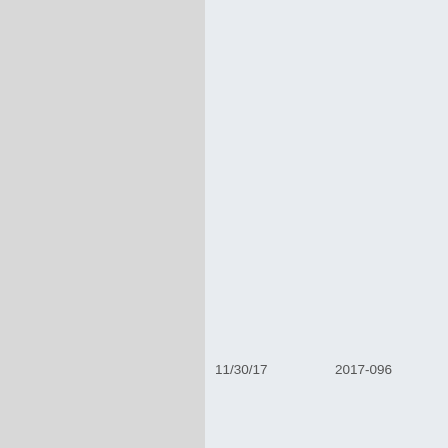| Date | Resolution No. | Description |
| --- | --- | --- |
| 11/30/17 | 2017-096 | RESOLUTION AUTHORIZING ANNUAL DESIGNATING A PORTION COMPENSATION AS A HOUSING ALLOWANCE CHAPLAINS SERVING AND EMPLOYEES OF THE MULTNOMAH COUNTY SHERIFF OFFICE |
| 11/9/17 | 2017-095 | RESOLUTION DECLARING SURPLUS PROPERTY AUTHORIZING... |